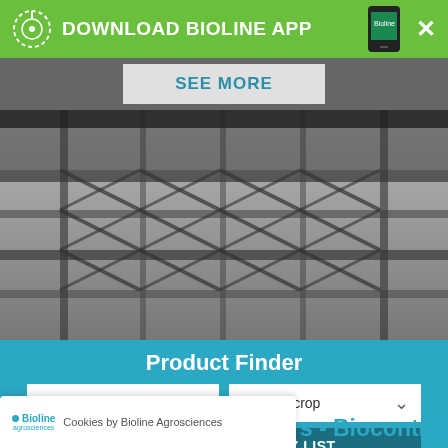[Figure (screenshot): Green app banner with circular icon, 'DOWNLOAD BIOLINE APP' text, phone image, and X close button]
SEE MORE
[Figure (photo): Greenhouse interior showing structural steel framework beams and glazing, black and white/grey tone]
Product Finder
Choose pest
Choose crop
OR
SEE FULL A-Z LIST
Cookies by Bioline Agrosciences
s - Biocontrol